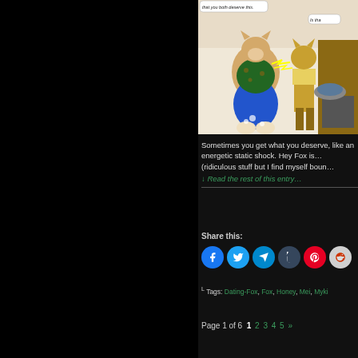[Figure (illustration): Comic panel showing two anthropomorphic animal characters. One is a curvy female character in a green top and blue skirt, being shocked. The other is a taller character in a yellow shirt and brown pants standing near a device. Speech bubbles read 'that you both deserve this.' and 'Is tha']
Sometimes you get what you deserve, like an energetic static shock. Hey Fox is… (ridiculous stuff but I find myself boun…
↓ Read the rest of this entry…
Share this:
Tags: Dating-Fox, Fox, Honey, Mei, Myki
Page 1 of 6  1  2  3  4  5  »